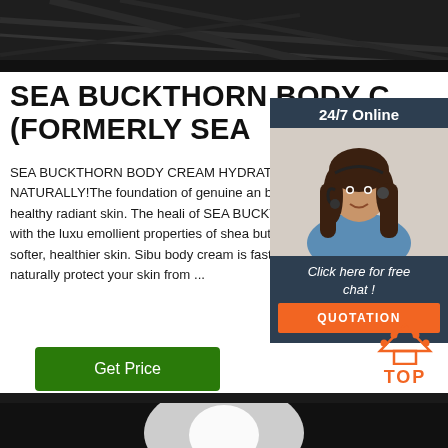[Figure (photo): Dark textured fabric background photo strip at top]
SEA BUCKTHORN BODY C (FORMERLY SEA
SEA BUCKTHORN BODY CREAM HYDRATES SKIN NATURALLY!The foundation of genuine an beauty starts with healthy radiant skin. The heali of SEA BUCKTHORN oil combined with the luxu emollient properties of shea butter and meadowf softer, healthier skin. Sibu body cream is fast act hydrating to naturally protect your skin from ...
[Figure (infographic): 24/7 Online chat widget with woman wearing headset, Click here for free chat text, and orange QUOTATION button]
[Figure (illustration): Green Get Price button]
[Figure (illustration): Orange TOP arrow icon with dots]
[Figure (photo): Dark photo strip at bottom of page]